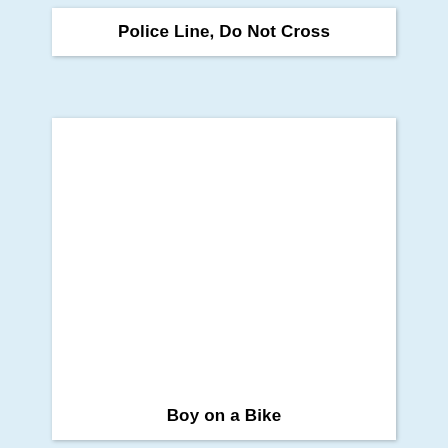Police Line, Do Not Cross
[Figure (photo): Empty white image placeholder below the title card]
Boy on a Bike